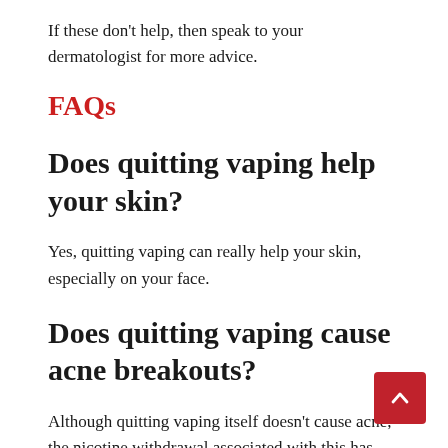If these don't help, then speak to your dermatologist for more advice.
FAQs
Does quitting vaping help your skin?
Yes, quitting vaping can really help your skin, especially on your face.
Does quitting vaping cause acne breakouts?
Although quitting vaping itself doesn't cause acne, the nicotine withdrawal associated with this has been